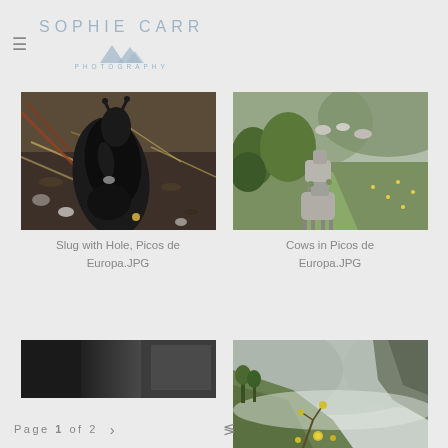SOPHIE CARR PHOTOGRAPHY
[Figure (photo): Close-up photo of a large black slug on gravelly ground with dry straw, Picos de Europa]
Slug with Hole, Picos de Europa.JPG
[Figure (photo): Photo of cows walking away on a grassy mountain path, Picos de Europa]
Cows in Picos de Europa.JPG
[Figure (photo): Partially visible photo of a dark rooftop]
[Figure (photo): Misty mountain valley with green hillside and yellow wildflowers, Picos de Europa]
Page 1 of 2